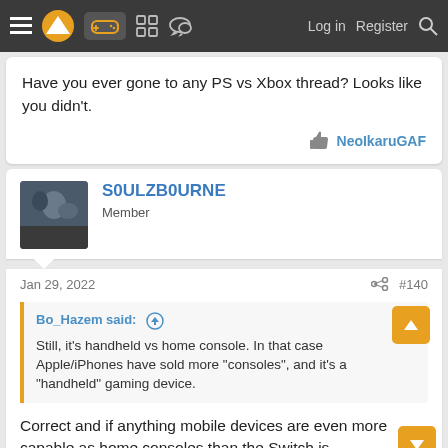Navigation bar with logo, gamepad icon, grid icon, chat icon, Log in, Register, Search
Have you ever gone to any PS vs Xbox thread? Looks like you didn't.
NeoIkaruGAF
S0ULZB0URNE
Member
Jan 29, 2022
#140
Bo_Hazem said:
Still, it's handheld vs home console. In that case Apple/iPhones have sold more "consoles", and it's a "handheld" gaming device.
Correct and if anything mobile devices are even more capable as home consoles than the Switch is.